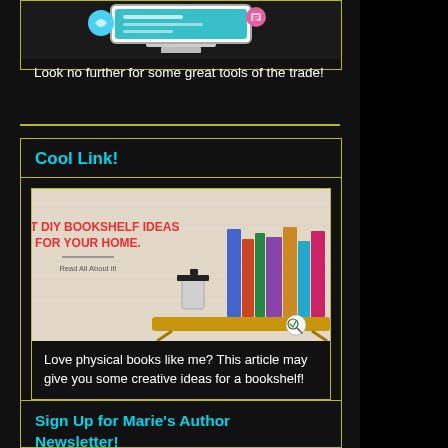[Figure (illustration): Partial view of a computer monitor with icons, cropped at top]
Look no further for some great tools of the trade!
Cool Link!
[Figure (photo): Photo of a wooden bookshelf with books, overlaid with text 'GREAT DIY BOOKSHELF IDEAS FOR YOUR HOME. Read All About It!']
Love physical books like me? This article may give you some creative ideas for a bookshelf!
Sign Up for Marie's Author Newsletter!